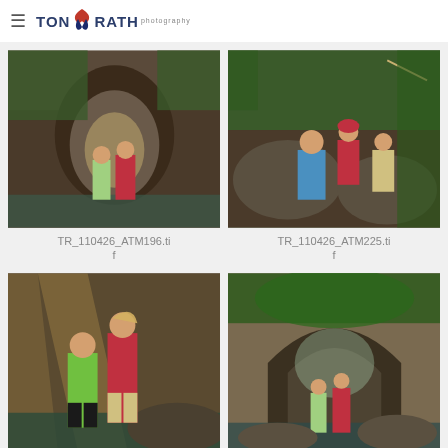Tony Rath Photography
[Figure (photo): Two women posing at the entrance of a cave/rock arch near water in a jungle setting]
TR_110426_ATM196.tif
[Figure (photo): Group of people with helmets and gear exploring a rocky jungle cave area]
TR_110426_ATM225.tif
[Figure (photo): Two women smiling and posing together near water in a jungle/cave environment, one in green shirt, one in red]
[Figure (photo): Two people standing at the entrance of a large cave arch in a rocky jungle setting]